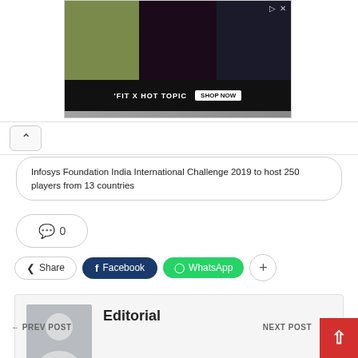[Figure (photo): Advertisement banner showing young people with text 'FIT X HOT TOPIC - SHOP NOW']
Infosys Foundation India International Challenge 2019 to host 250 players from 13 countries
0
Share  Facebook  WhatsApp  +
Editorial
PREV POST
NEXT POST